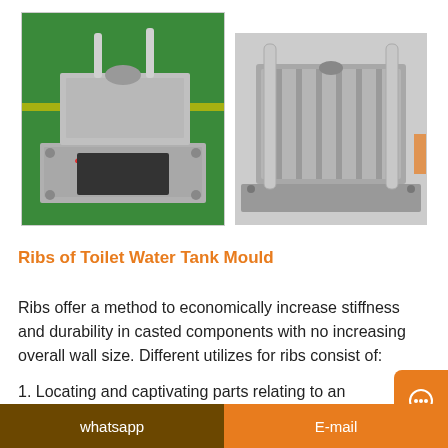[Figure (photo): Two photos of toilet water tank injection moulds. Left photo shows an open mould with coiled heating elements and ejector pins on a green surface. Right photo shows a closed steel mould with guide pillars.]
Ribs of Toilet Water Tank Mould
Ribs offer a method to economically increase stiffness and durability in casted components with no increasing overall wall size. Different utilizes for ribs consist of:
1. Locating and captivating parts relating to an assemblage;
whatsapp     E-mail